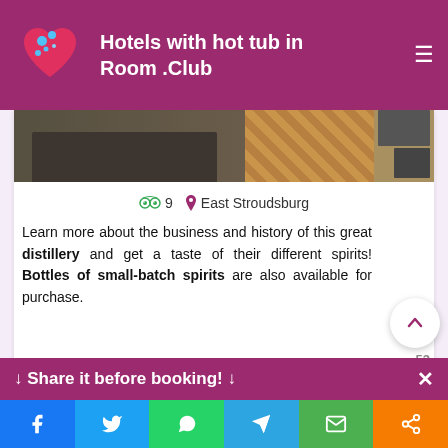Hotels with hot tub in Room .Club
[Figure (photo): Partial image of a restaurant/distillery interior showing dark tables and wood parquet flooring]
⊙ 9  📍 East Stroudsburg
Learn more about the business and history of this great distillery and get a taste of their different spirits! Bottles of small-batch spirits are also available for purchase.
53
Three Hammers Winery
[Figure (photo): Outdoor photo showing trees against blue sky — Three Hammers Winery]
↓ Share it before booking! ↓